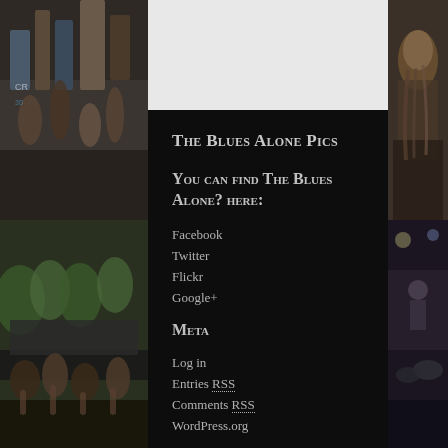[Figure (photo): Concert crowd photo on left strip, top half - people with raised hands]
[Figure (photo): Concert crowd photo on left strip, bottom half - outdoor concert with trees]
[Figure (photo): Concert performer photo on right strip]
The Blues Alone Pics
You can find The Blues Alone? here:
Facebook
Twitter
Flickr
Google+
Meta
Log in
Entries RSS
Comments RSS
WordPress.org